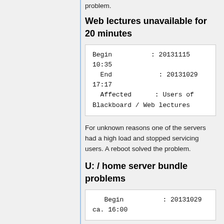problem.
Web lectures unavailable for 20 minutes
| Begin | : 20131115 10:35 |
| End | : 20131029 17:17 |
| Affected | : Users of Blackboard / Web lectures |
For unknown reasons one of the servers had a high load and stopped servicing users. A reboot solved the problem.
U: / home server bundle problems
| Begin | : 20131029 ca. 16:00 |